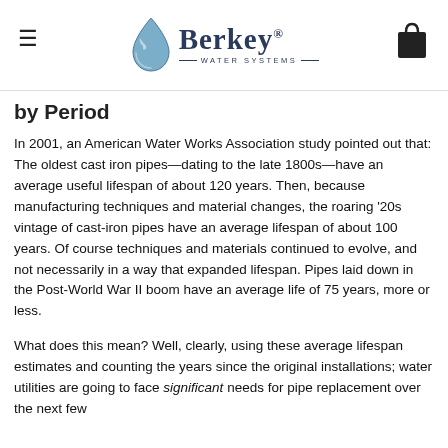Berkey® WATER SYSTEMS
by Period
In 2001, an American Water Works Association study pointed out that: The oldest cast iron pipes—dating to the late 1800s—have an average useful lifespan of about 120 years. Then, because manufacturing techniques and material changes, the roaring '20s vintage of cast-iron pipes have an average lifespan of about 100 years. Of course techniques and materials continued to evolve, and not necessarily in a way that expanded lifespan. Pipes laid down in the Post-World War II boom have an average life of 75 years, more or less.
What does this mean? Well, clearly, using these average lifespan estimates and counting the years since the original installations; water utilities are going to face significant needs for pipe replacement over the next few